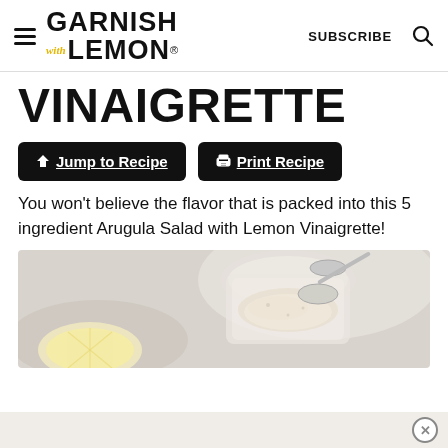GARNISH with LEMON® | SUBSCRIBE
VINAIGRETTE
↓ Jump to Recipe
🖨 Print Recipe
You won't believe the flavor that is packed into this 5 ingredient Arugula Salad with Lemon Vinaigrette!
[Figure (photo): Overhead view of a glass jar with white dressing/vinaigrette being stirred with a spoon, alongside a lemon slice on a light grey surface.]